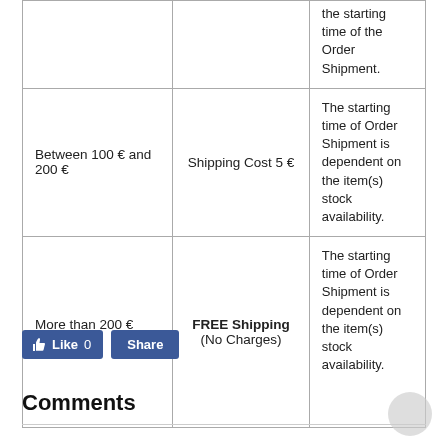| Order Amount | Shipping Cost | Delivery Time |
| --- | --- | --- |
|  |  | the starting time of the Order Shipment. |
| Between 100 € and 200 € | Shipping Cost 5 € | The starting time of Order Shipment is dependent on the item(s) stock availability. |
| More than 200 € (>200 €) | FREE Shipping (No Charges) | The starting time of Order Shipment is dependent on the item(s) stock availability. |
Like 0  Share
Comments